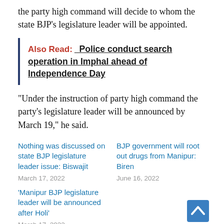the party high command will decide to whom the state BJP's legislature leader will be appointed.
Also Read: Police conduct search operation in Imphal ahead of Independence Day
“Under the instruction of party high command the party’s legislature leader will be announced by March 19,” he said.
Nothing was discussed on state BJP legislature leader issue: Biswajit
March 17, 2022
BJP government will root out drugs from Manipur: Biren
June 16, 2022
‘Manipur BJP legislature leader will be announced after Holi’
March 17, 2022